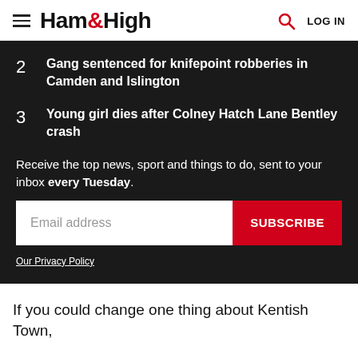Ham&High — LOG IN
2  Gang sentenced for knifepoint robberies in Camden and Islington
3  Young girl dies after Colney Hatch Lane Bentley crash
Receive the top news, sport and things to do, sent to your inbox every Tuesday.
Email address  SUBSCRIBE
Our Privacy Policy
If you could change one thing about Kentish Town,